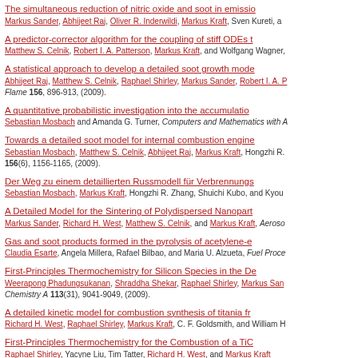The simultaneous reduction of nitric oxide and soot in emissio... — Markus Sander, Abhijeet Raj, Oliver R. Inderwildi, Markus Kraft, Sven Kureti, a...
A predictor-corrector algorithm for the coupling of stiff ODEs t... — Matthew S. Celnik, Robert I. A. Patterson, Markus Kraft, and Wolfgang Wagner,...
A statistical approach to develop a detailed soot growth mode... — Abhijeet Raj, Matthew S. Celnik, Raphael Shirley, Markus Sander, Robert I. A. P... Flame 156, 896-913, (2009).
A quantitative probabilistic investigation into the accumulatio... — Sebastian Mosbach and Amanda G. Turner, Computers and Mathematics with A...
Towards a detailed soot model for internal combustion engine... — Sebastian Mosbach, Matthew S. Celnik, Abhijeet Raj, Markus Kraft, Hongzhi R.... 156(6), 1156-1165, (2009).
Der Weg zu einem detaillierten Russmodell für Verbrennungs... — Sebastian Mosbach, Markus Kraft, Hongzhi R. Zhang, Shuichi Kubo, and Kyou...
A Detailed Model for the Sintering of Polydispersed Nanopart... — Markus Sander, Richard H. West, Matthew S. Celnik, and Markus Kraft, Aeroso...
Gas and soot products formed in the pyrolysis of acetylene-e... — Claudia Esarte, Angela Millera, Rafael Bilbao, and Maria U. Alzueta, Fuel Proce...
First-Principles Thermochemistry for Silicon Species in the De... — Weerapong Phadungsukanan, Shraddha Shekar, Raphael Shirley, Markus San... Chemistry A 113(31), 9041-9049, (2009).
A detailed kinetic model for combustion synthesis of titania fr... — Richard H. West, Raphael Shirley, Markus Kraft, C. F. Goldsmith, and William H...
First-Principles Thermochemistry for the Combustion of a TiC... — Raphael Shirley, Yacyne Liu, Tim Tatter, Richard H. West, and Markus Kraft...